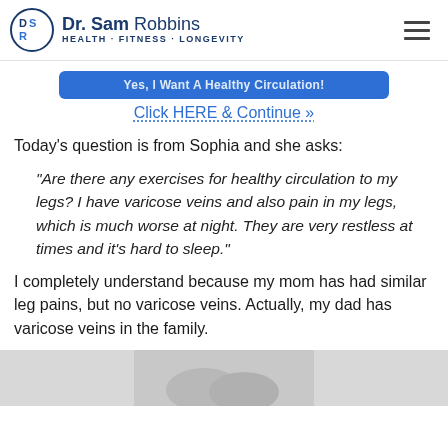Dr. Sam Robbins · Health · Fitness · Longevity
[Figure (screenshot): Blue button banner with partially visible text]
Click HERE & Continue »
Today's question is from Sophia and she asks:
“Are there any exercises for healthy circulation to my legs? I have varicose veins and also pain in my legs, which is much worse at night. They are very restless at times and it’s hard to sleep.”
I completely understand because my mom has had similar leg pains, but no varicose veins. Actually, my dad has varicose veins in the family.
[Figure (photo): Partial photo of legs at bottom of page]